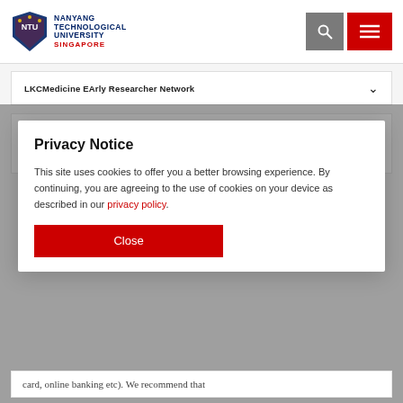[Figure (logo): Nanyang Technological University Singapore logo with lion/shield crest]
NANYANG TECHNOLOGICAL UNIVERSITY SINGAPORE
LKCMedicine EArly Researcher Network
LKCMedicine's HR will ask you for an address, during your orientation day. This address may
Privacy Notice
This site uses cookies to offer you a better browsing experience. By continuing, you are agreeing to the use of cookies on your device as described in our privacy policy.
Close
card, online banking etc). We recommend that